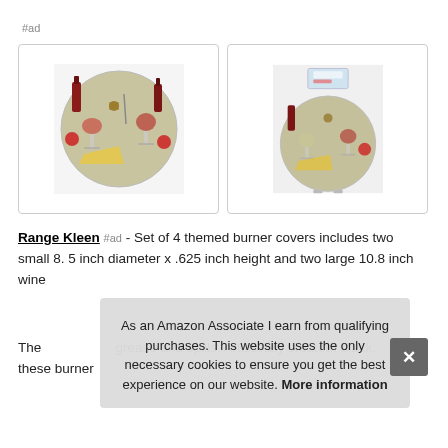#ad
[Figure (photo): Two circular decorative burner covers with wine and cheese themed artwork. Left image shows front view, right image shows product in packaging.]
Range Kleen #ad - Set of 4 themed burner covers includes two small 8. 5 inch diameter x .625 inch height and two large 10.8 inch... wine...
As an Amazon Associate I earn from qualifying purchases. This website uses the only necessary cookies to ensure you get the best experience on our website. More information
The... grease and spills. Artistically created, black, these burner